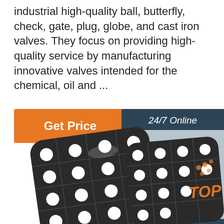industrial high-quality ball, butterfly, check, gate, plug, globe, and cast iron valves. They focus on providing high-quality service by manufacturing innovative valves intended for the chemical, oil and ...
[Figure (other): Orange 'Get Price' button]
[Figure (other): 24/7 Online customer service sidebar with photo of woman with headset, 'Click here for free chat!' text, and orange QUOTATION button]
[Figure (logo): 6eC logo with CE, gear, and shield certification icons]
[Figure (photo): Two industrial valve disc/plate products shown at bottom of page with polka-dot pattern, with TOP watermark in orange]
TOP